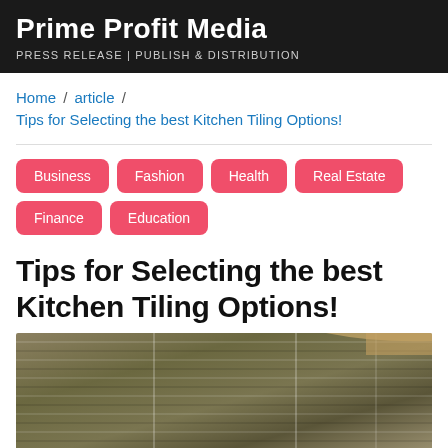Prime Profit Media
PRESS RELEASE | PUBLISH & DISTRIBUTION
Home / article / Tips for Selecting the best Kitchen Tiling Options!
Business
Fashion
Health
Real Estate
Finance
Education
Tips for Selecting the best Kitchen Tiling Options!
[Figure (photo): Kitchen wall with mosaic/strip tiles in brown, tan, and grey tones, showing tile grout lines and a wooden ceiling edge visible at the top right.]